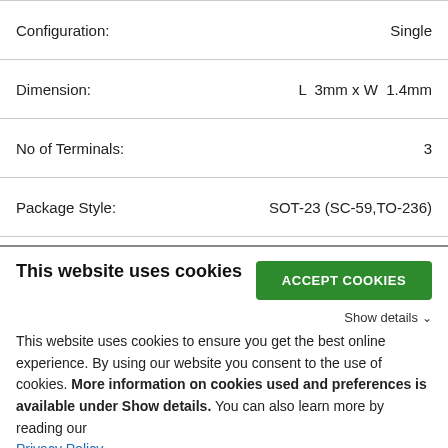| Attribute | Value |
| --- | --- |
| Configuration: | Single |
| Dimension: | L  3mm x W  1.4mm |
| No of Terminals: | 3 |
| Package Style: | SOT-23 (SC-59,TO-236) |
| Mounting Method: | Surface Mount |
This website uses cookies
This website uses cookies to ensure you get the best online experience. By using our website you consent to the use of cookies. More information on cookies used and preferences is available under Show details. You can also learn more by reading our Privacy Policy.